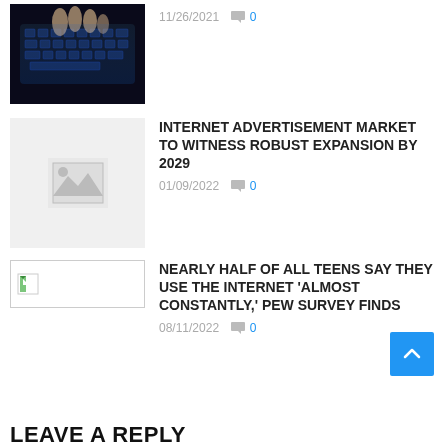[Figure (photo): Hands typing on a keyboard with blue backlit keys in a dark setting]
11/26/2021  0
[Figure (photo): Placeholder image with mountain/landscape icon on grey background]
INTERNET ADVERTISEMENT MARKET TO WITNESS ROBUST EXPANSION BY 2029
01/09/2022  0
[Figure (photo): Broken image icon]
NEARLY HALF OF ALL TEENS SAY THEY USE THE INTERNET 'ALMOST CONSTANTLY,' PEW SURVEY FINDS
08/11/2022  0
LEAVE A REPLY